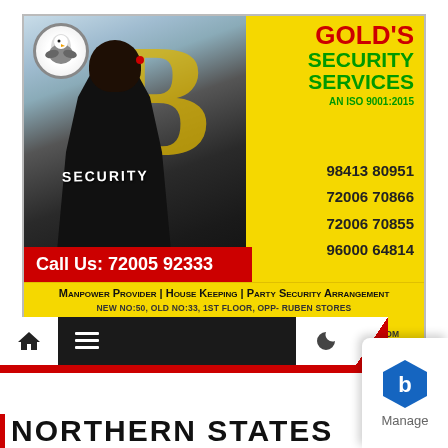[Figure (infographic): Gold's Security Services advertisement card with yellow background, security guard photo on left, company name and phone numbers on right, red call-to-action bar, and contact details at bottom]
GOLD'S SECURITY SERVICES
AN ISO 9001:2015
98413 80951
72006 70866
72006 70855
96000 64814
Call Us: 72005 92333
Manpower Provider | House Keeping | Party Security Arrangement
NEW NO:50, OLD NO:33, 1ST FLOOR, OPP- RUBEN STORES
REDDY STREET,VILLIVAKKAM,CHENNAI-600 099.
EMAIL: GOLDSSECURITY2@GMAIL.COM | WEB: GOLDSSECURITYSERVICES.COM
[Figure (screenshot): Mobile browser toolbar with home icon, menu icon, dark search bar, moon/night-mode icon, and red chevron]
[Figure (logo): Manage app logo — blue hexagon with 'b' letter and 'Manage' text]
NORTHERN STATES